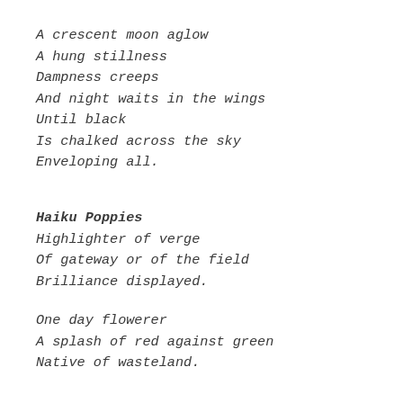A crescent moon aglow
A hung stillness
Dampness creeps
And night waits in the wings
Until black
Is chalked across the sky
Enveloping all.
Haiku Poppies
Highlighter of verge
Of gateway or of the field
Brilliance displayed.
One day flowerer
A splash of red against green
Native of wasteland.